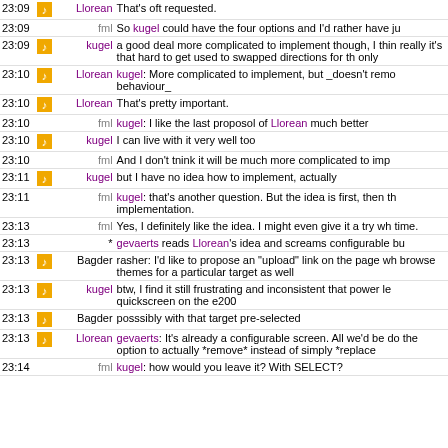| Time | Icon | Nick | Message |
| --- | --- | --- | --- |
| 23:09 | icon | Llorean | That's oft requested. |
| 23:09 |  | fml | So kugel could have the four options and I'd rather have ju |
| 23:09 | icon | kugel | a good deal more complicated to implement though, I thin really it's that hard to get used to swapped directions for th only |
| 23:10 | icon | Llorean | kugel: More complicated to implement, but _doesn't remo behaviour_ |
| 23:10 | icon | Llorean | That's pretty important. |
| 23:10 |  | fml | kugel: I like the last proposol of Llorean much better |
| 23:10 | icon | kugel | I can live with it very well too |
| 23:10 |  | fml | And I don't tnink it will be much more complicated to imp |
| 23:11 | icon | kugel | but I have no idea how to implement, actually |
| 23:11 |  | fml | kugel: that's another question. But the idea is first, then th implementation. |
| 23:13 |  | fml | Yes, I definitely like the idea. I might even give it a try wh time. |
| 23:13 |  | * | gevaerts reads Llorean's idea and screams configurable bu |
| 23:13 | icon | Bagder | rasher: I'd like to propose an "upload" link on the page wh browse themes for a particular target as well |
| 23:13 | icon | kugel | btw, I find it still frustrating and inconsistent that power le quickscreen on the e200 |
| 23:13 | icon | Bagder | posssibly with that target pre-selected |
| 23:13 | icon | Llorean | gevaerts: It's already a configurable screen. All we'd be do the option to actually *remove* instead of simply *replace |
| 23:14 |  | fml | kugel: how would you leave it? With SELECT? |